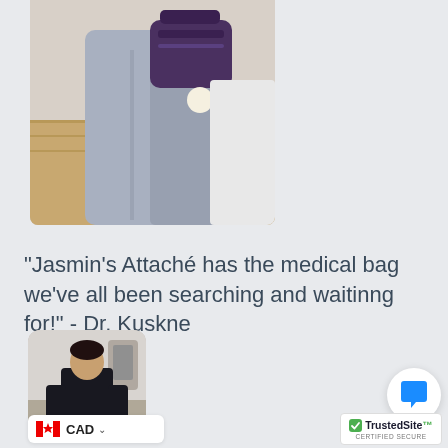[Figure (photo): Photo of person's lower body/hip area wearing grey pants, with a small purple medical bag/pouch clipped to the waist. Hospital room background with wooden floor visible.]
"Jasmin's Attaché has the medical bag we've all been searching and waitinng for!" - Dr. Kuskne
[Figure (photo): Photo of a man standing in what appears to be a medical/hospital setting, wearing dark clothing. He is shown in a portrait-style square image with rounded corners.]
CAD
[Figure (other): Blue chat bubble icon on white circular background]
[Figure (logo): TrustedSite CERTIFIED SECURE badge with green checkmark]